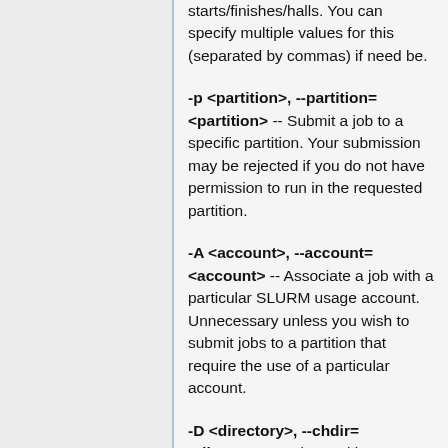starts/finishes/halls. You can specify multiple values for this (separated by commas) if need be.
-p <partition>, --partition=<partition> -- Submit a job to a specific partition. Your submission may be rejected if you do not have permission to run in the requested partition.
-A <account>, --account=<account> -- Associate a job with a particular SLURM usage account. Unnecessary unless you wish to submit jobs to a partition that require the use of a particular account.
-D <directory>, --chdir=<directory> -- The working directory you want your job script to execute in. By default, job working directory is the location where sbatch <script> was run.
-J <name>, --jobname=<name> -- Specify a name for a job...